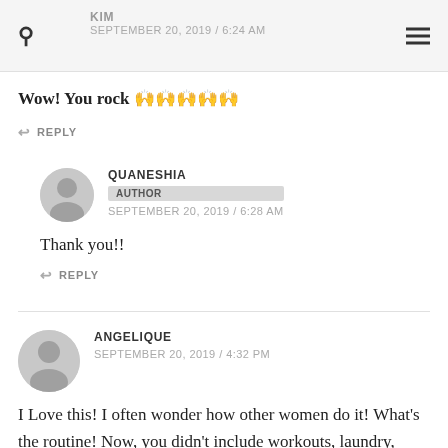KIM / SEPTEMBER 20, 2019 / 6:24 AM
Wow! You rock 🙌🙌🙌🙌🙌
↩ REPLY
QUANESHIA / AUTHOR / SEPTEMBER 20, 2019 / 6:28 AM
Thank you!!
↩ REPLY
ANGELIQUE / SEPTEMBER 20, 2019 / 4:32 PM
I Love this! I often wonder how other women do it! What's the routine! Now, you didn't include workouts, laundry, cleaning, fun time (sex)... how does all of THAT fit in! Sometimes it never ends and things fall through the cracks for me. Thanks for sharing... this glimpse in your life was cool. Helps us to know how similar we